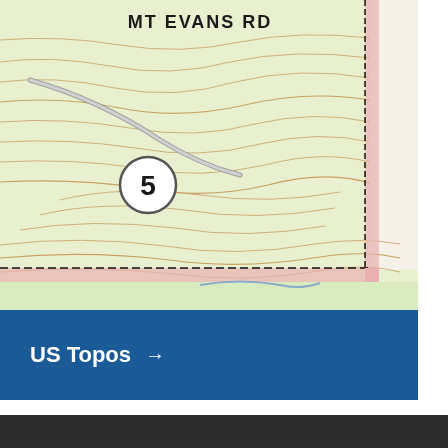[Figure (map): Topographic map excerpt showing contour lines on a light green/yellow terrain background. A road labeled 'MT EVANS RD' is shown near the top. A circled number '5' marker is visible on the left side. A pink/rose-colored boundary line runs horizontally near the bottom with a dashed black line. A vertical pink boundary runs on the right side. Contour lines show terrain relief throughout.]
US Topos →
1 / 6